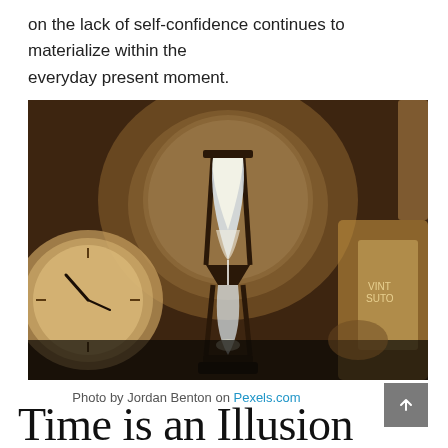on the lack of self-confidence continues to materialize within the everyday present moment.
[Figure (photo): Sepia-toned photograph of an hourglass surrounded by vintage clocks and antique timepieces on a shelf, warm golden-brown tones.]
Photo by Jordan Benton on Pexels.com
Time is an Illusion